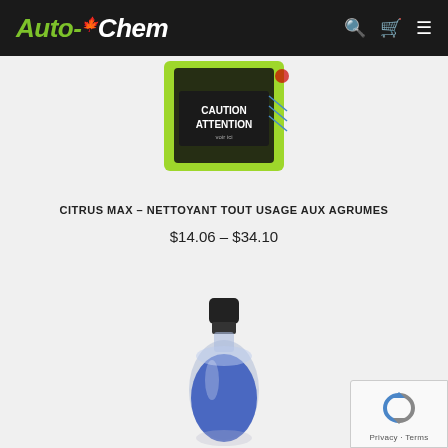Auto-Chem
[Figure (photo): Green bottle of Citrus Max all-purpose citrus cleaner with CAUTION/ATTENTION label visible on dark background]
CITRUS MAX – NETTOYANT TOUT USAGE AUX AGRUMES
$14.06 – $34.10
[Figure (photo): Blue liquid in a clear bottle with black cap, shown from above at an angle]
[Figure (other): reCAPTCHA badge with Privacy and Terms links]